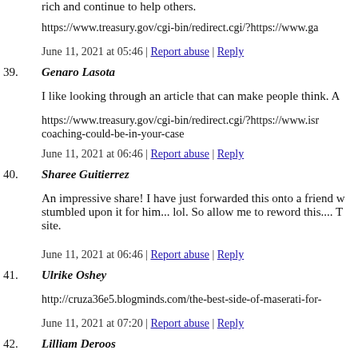rich and continue to help others.
https://www.treasury.gov/cgi-bin/redirect.cgi/?https://www.ga
June 11, 2021 at 05:46 | Report abuse | Reply
39. Genaro Lasota
I like looking through an article that can make people think. A
https://www.treasury.gov/cgi-bin/redirect.cgi/?https://www.isr coaching-could-be-in-your-case
June 11, 2021 at 06:46 | Report abuse | Reply
40. Sharee Guitierrez
An impressive share! I have just forwarded this onto a friend w stumbled upon it for him... lol. So allow me to reword this.... T site.
June 11, 2021 at 06:46 | Report abuse | Reply
41. Ulrike Oshey
http://cruza36e5.blogminds.com/the-best-side-of-maserati-for-
June 11, 2021 at 07:20 | Report abuse | Reply
42. Lilliam Deroos